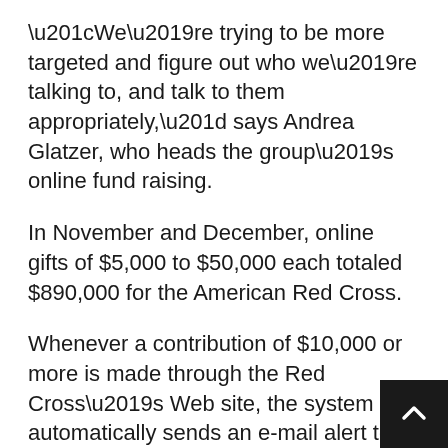“We’re trying to be more targeted and figure out who we’re talking to, and talk to them appropriately,” says Andrea Glatzer, who heads the group’s online fund raising.
In November and December, online gifts of $5,000 to $50,000 each totaled $890,000 for the American Red Cross.
Whenever a contribution of $10,000 or more is made through the Red Cross’s Web site, the system automatically sends an e-mail alert to the organization’s major-gifts department, so that someone can thank the donor personally for the contribution. Over the next year, the Red Cross plans to research what kind of information ma… donors want to see online and then build a Web